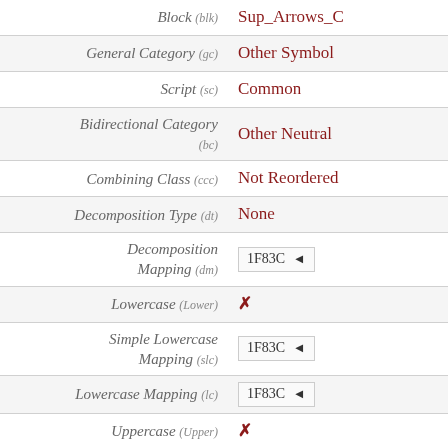| Property | Value |
| --- | --- |
| Block (blk) | Sup_Arrows_C |
| General Category (gc) | Other Symbol |
| Script (sc) | Common |
| Bidirectional Category (bc) | Other Neutral |
| Combining Class (ccc) | Not Reordered |
| Decomposition Type (dt) | None |
| Decomposition Mapping (dm) | 1F83C ◄ |
| Lowercase (Lower) | ✗ |
| Simple Lowercase Mapping (slc) | 1F83C ◄ |
| Lowercase Mapping (lc) | 1F83C ◄ |
| Uppercase (Upper) | ✗ |
| Simple Uppercase Mapping (suc) | 1F83C ◄ |